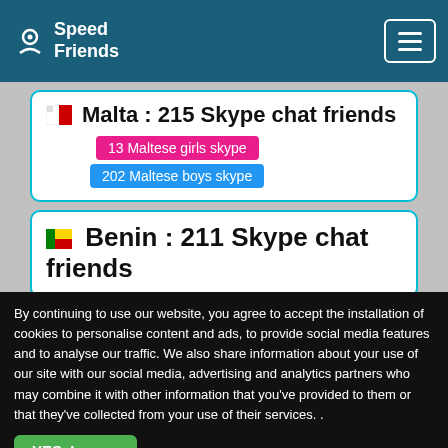Speed Friends
Malta : 215 Skype chat friends
13 Maltese girls skype
202 Maltese boys skype
Benin : 211 Skype chat friends
By continuing to use our website, you agree to accept the installation of cookies to personalise content and ads, to provide social media features and to analyse our traffic. We also share information about your use of our site with our social media, advertising and analytics partners who may combine it with other information that you've provided to them or that they've collected from your use of their services. .
YES, I agree